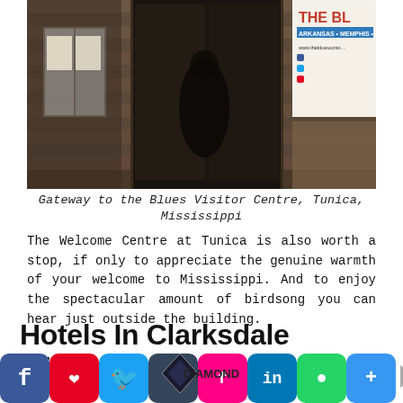[Figure (photo): Old wooden building facade, Gateway to the Blues Visitor Centre, Tunica, Mississippi. Dark wooden siding, two windows with notices, a central dark doorway, and a sign in the upper right corner reading 'THE BL...' with 'ARKANSAS + MEMPHIS' and a URL.]
Gateway to the Blues Visitor Centre, Tunica, Mississippi
The Welcome Centre at Tunica is also worth a stop, if only to appreciate the genuine warmth of your welcome to Mississippi. And to enjoy the spectacular amount of birdsong you can hear just outside the building.
Hotels In Clarksdale Mississippi
Staying At The Shack Up Inn
[Figure (infographic): Social media share bar with icons for Facebook, Pinterest, Twitter, Tumblr, Flipboard, LinkedIn, WhatsApp, and a plus button. An advertisement overlay includes a diamond logo and E305 branding on the right.]